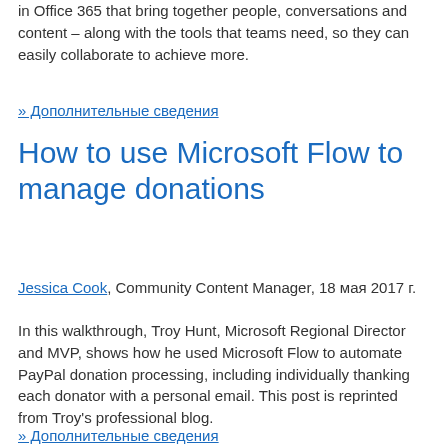in Office 365 that bring together people, conversations and content – along with the tools that teams need, so they can easily collaborate to achieve more.
» Дополнительные сведения
How to use Microsoft Flow to manage donations
Jessica Cook, Community Content Manager, 18 мая 2017 г.
In this walkthrough, Troy Hunt, Microsoft Regional Director and MVP, shows how he used Microsoft Flow to automate PayPal donation processing, including individually thanking each donator with a personal email. This post is reprinted from Troy's professional blog.
» Дополнительные сведения